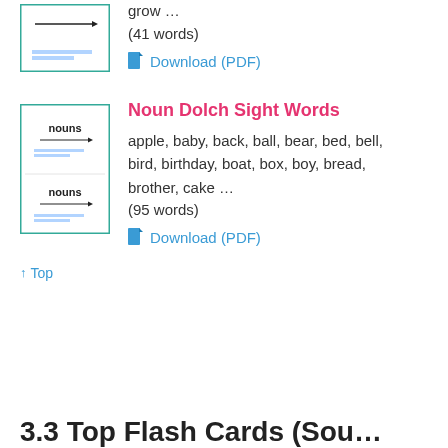[Figure (illustration): Thumbnail of a flashcard worksheet with a horizontal arrow line, small text at bottom]
grow …
(41 words)
Download (PDF)
[Figure (illustration): Thumbnail of a noun flashcard worksheet showing two cards each labeled 'nouns' with a horizontal arrow line]
Noun Dolch Sight Words
apple, baby, back, ball, bear, bed, bell, bird, birthday, boat, box, boy, bread, brother, cake …
(95 words)
Download (PDF)
↑ Top
3.3 Top Flash Cards (Sou…